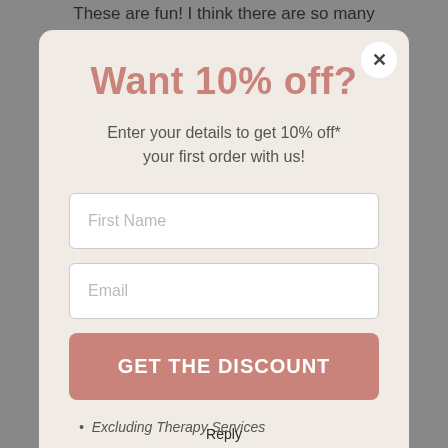These are fun! I think there are so many
Want 10% off?
Enter your details to get 10% off* your first order with us!
First Name
Email
GET THE DISCOUNT
Excluding Therapy Services
Reply